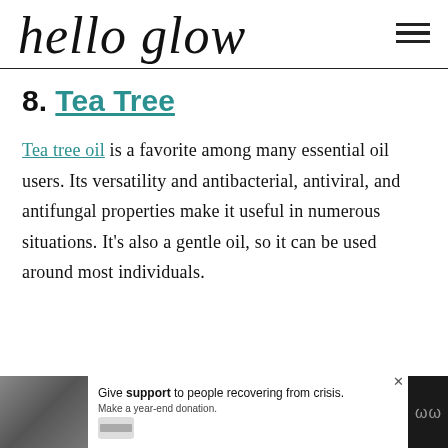hello glow
8. Tea Tree
Tea tree oil is a favorite among many essential oil users. Its versatility and antibacterial, antiviral, and antifungal properties make it useful in numerous situations. It’s also a gentle oil, so it can be used around most individuals.
[Figure (photo): Advertisement bar at bottom: photo of two people on the left, white ad panel reading 'Give support to people recovering from crisis. Make a year-end donation.' with close button, and dark icon on the right.]